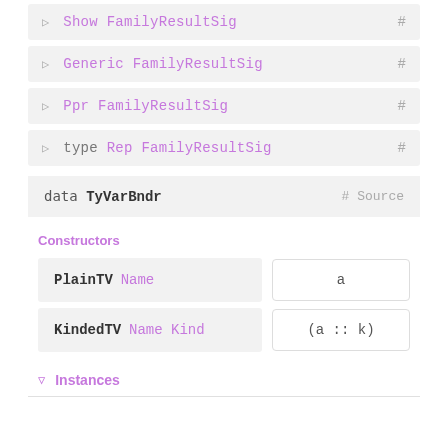▷ Show FamilyResultSig #
▷ Generic FamilyResultSig #
▷ Ppr FamilyResultSig #
▷ type Rep FamilyResultSig #
data TyVarBndr  # Source
Constructors
PlainTV Name    a
KindedTV Name Kind    (a :: k)
▽ Instances